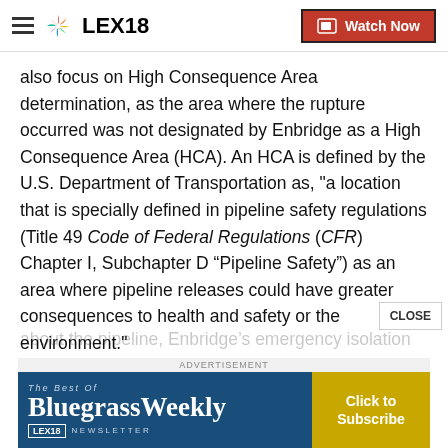LEX18 — Watch Now
also focus on High Consequence Area determination, as the area where the rupture occurred was not designated by Enbridge as a High Consequence Area (HCA). An HCA is defined by the U.S. Department of Transportation as, "a location that is specially defined in pipeline safety regulations (Title 49 Code of Federal Regulations (CFR) Chapter I, Subchapter D “Pipeline Safety”) as an area where pipeline releases could have greater consequences to health and safety or the environment."
The investigation will also look at public awareness about the pipeline, Enbridge’s emergency isolation procedures,
[Figure (screenshot): BluegrassWeekly newsletter advertisement banner with 'The Best Of BluegrassWeekly NEWSLETTER' text and 'Click to Subscribe' call-to-action button, sponsored by LEX18]